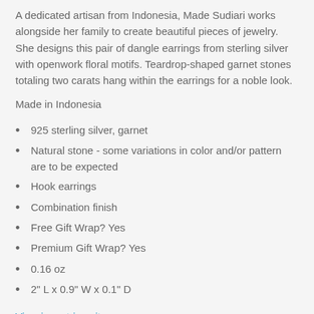A dedicated artisan from Indonesia, Made Sudiari works alongside her family to create beautiful pieces of jewelry. She designs this pair of dangle earrings from sterling silver with openwork floral motifs. Teardrop-shaped garnet stones totaling two carats hang within the earrings for a noble look.
Made in Indonesia
925 sterling silver, garnet
Natural stone - some variations in color and/or pattern are to be expected
Hook earrings
Combination finish
Free Gift Wrap? Yes
Premium Gift Wrap? Yes
0.16 oz
2" L x 0.9" W x 0.1" D
View in metric units